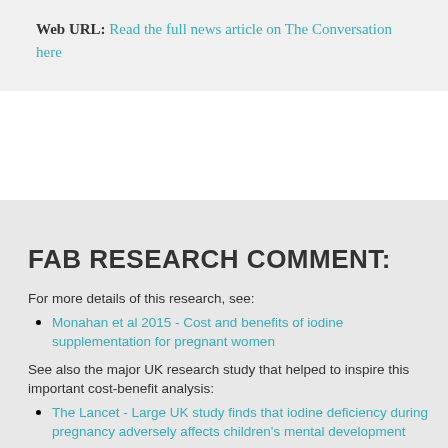Web URL: Read the full news article on The Conversation here
FAB RESEARCH COMMENT:
For more details of this research, see:
Monahan et al 2015 - Cost and benefits of iodine supplementation for pregnant women
See also the major UK research study that helped to inspire this important cost-benefit analysis:
The Lancet - Large UK study finds that iodine deficiency during pregnancy adversely affects children's mental development